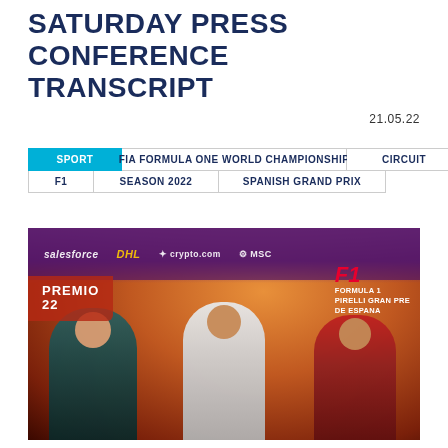SATURDAY PRESS CONFERENCE TRANSCRIPT
21.05.22
SPORT | FIA FORMULA ONE WORLD CHAMPIONSHIP | CIRCUIT | F1 | SEASON 2022 | SPANISH GRAND PRIX
[Figure (photo): Three people seated at a press conference table in front of Formula 1 Spanish Grand Prix branding. The person on the left wears an Aston Martin team shirt, the person in the center wears a white Mercedes shirt and holds a microphone, and the person on the right wears a red Ferrari shirt. Sponsor logos including Salesforce, DHL, crypto.com, and MSC are visible in the background.]